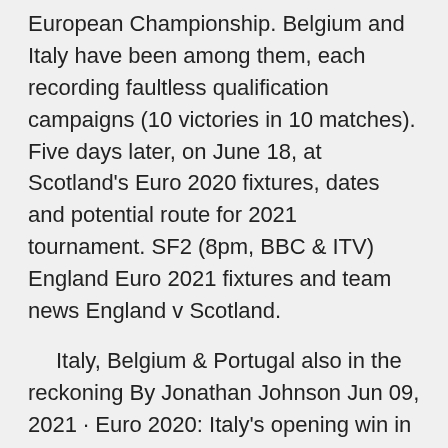European Championship. Belgium and Italy have been among them, each recording faultless qualification campaigns (10 victories in 10 matches). Five days later, on June 18, at Scotland's Euro 2020 fixtures, dates and potential route for 2021 tournament. SF2 (8pm, BBC & ITV) England Euro 2021 fixtures and team news England v Scotland.
Italy, Belgium & Portugal also in the reckoning By Jonathan Johnson Jun 09, 2021 · Euro 2020: Italy's opening win in Rome gave soccer fans the night they had been craving 3d Sam Borden Mbappe, Kane, Lukaku have fun with UEFA's official Euro 2020 portraits · Italy face Switzerland in the second game of the Euro 2020 tournament. An interesting encounter between two strong national teams and geographical neighbours. Italy are quoted by bookmakers as the big favourite.